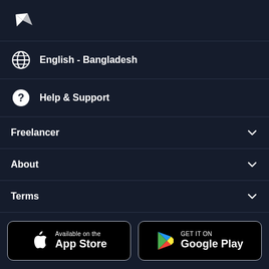[Figure (logo): Freelancer logo - white bird/arrow icon on dark navy background]
English - Bangladesh
Help & Support
Freelancer
About
Terms
[Figure (screenshot): App Store and Google Play download buttons]
[Figure (screenshot): Social media icons row: Facebook, Twitter, YouTube, Instagram, and more]